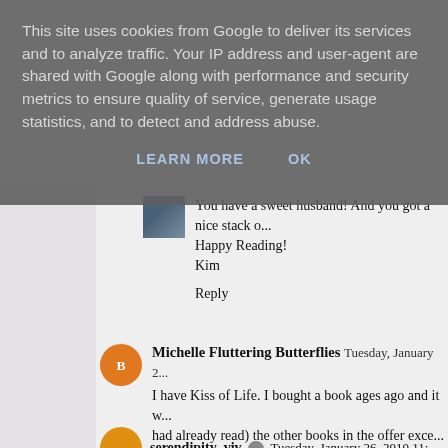This site uses cookies from Google to deliver its services and to analyze traffic. Your IP address and user-agent are shared with Google along with performance and security metrics to ensure quality of service, generate usage statistics, and to detect and address abuse.
LEARN MORE   OK
You have a sweet husband! And you got a nice stack o... Happy Reading!
Kim
Reply
Michelle Fluttering Butterflies  Tuesday, January 2...
I have Kiss of Life. I bought a book ages ago and it w... had already read) the other books in the offer exce... also the second in a series, the first, I believe, being...
Reply
serendipity_viv  Tuesday, January 26, 2010 11:...